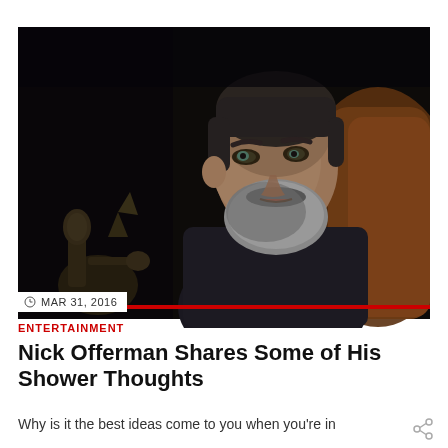[Figure (photo): A bearded man with salt-and-pepper beard, wearing a dark shirt, seated in a leather chair in a dimly lit room. He appears to be looking to the side with a serious expression. There is a golden decorative object visible in the lower left foreground.]
MAR 31, 2016
ENTERTAINMENT
Nick Offerman Shares Some of His Shower Thoughts
Why is it the best ideas come to you when you're in